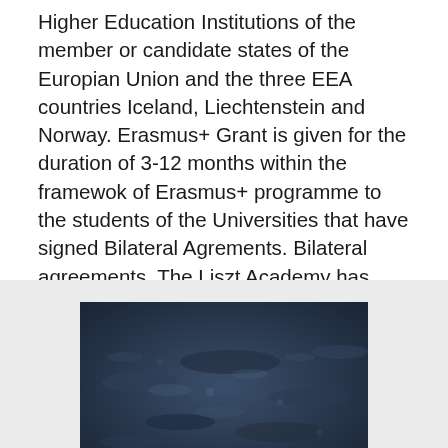Higher Education Institutions of the member or candidate states of the Europian Union and the three EEA countries Iceland, Liechtenstein and Norway. Erasmus+ Grant is given for the duration of 3-12 months within the framewok of Erasmus+ programme to the students of the Universities that have signed Bilateral Agrements. Bilateral agreements. The Liszt Academy has established several connections with universities in the European Union.
[Figure (photo): A dark atmospheric photograph showing what appears to be a water surface or dark textured background with indistinct shapes or reflections, displayed inside a light gray container block.]